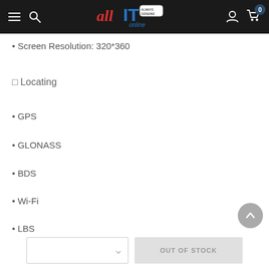allIT online navigation bar
• Screen Resolution: 320*360
⬚ Locating
• GPS
• GLONASS
• BDS
• Wi-Fi
• LBS